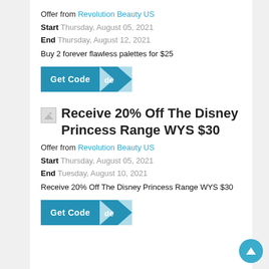Offer from Revolution Beauty US
Start Thursday, August 05, 2021
End Thursday, August 12, 2021
Buy 2 forever flawless palettes for $25
[Figure (other): Get Code button with arrow/coupon style button in teal blue]
Receive 20% Off The Disney Princess Range WYS $30
Offer from Revolution Beauty US
Start Thursday, August 05, 2021
End Tuesday, August 10, 2021
Receive 20% Off The Disney Princess Range WYS $30
[Figure (other): Get Code button with arrow/coupon style button in teal blue]